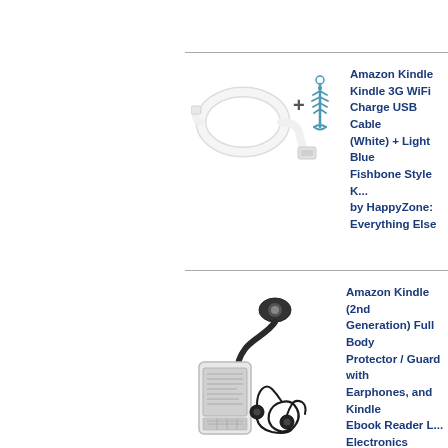[Figure (photo): White USB cable coiled and a blue fishbone-style keychain accessory with a plus sign between them]
Amazon Kindle Kindle 3G WiFi Charge USB Cable (White) + Light Blue Fishbone Style K... by HappyZone: Everything Else
[Figure (photo): Amazon Kindle e-reader with a flexible LED reading light clipped on top, earphones/earbuds with cable coiled below, and a clear protective case]
Amazon Kindle (2nd Generation) Full Body Protector / Guard with Earphones, and Kindle Ebook Reader L... Electronics